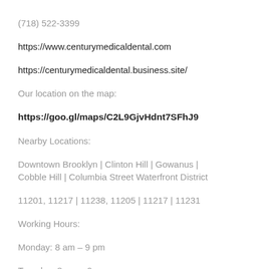(718) 522-3399
https://www.centurymedicaldental.com
https://centurymedicaldental.business.site/
Our location on the map:
https://goo.gl/maps/C2L9GjvHdnt7SFhJ9
Nearby Locations:
Downtown Brooklyn | Clinton Hill | Gowanus | Cobble Hill | Columbia Street Waterfront District
11201, 11217 | 11238, 11205 | 11217 | 11231
Working Hours:
Monday: 8 am – 9 pm
Tuesday: 8 am – 9 pm